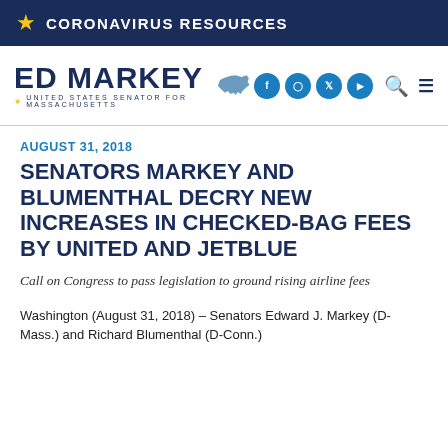CORONAVIRUS RESOURCES
[Figure (logo): Ed Markey United States Senator for Massachusetts logo with Massachusetts state silhouette and social media icons]
AUGUST 31, 2018
SENATORS MARKEY AND BLUMENTHAL DECRY NEW INCREASES IN CHECKED-BAG FEES BY UNITED AND JETBLUE
Call on Congress to pass legislation to ground rising airline fees
Washington (August 31, 2018) – Senators Edward J. Markey (D-Mass.) and Richard Blumenthal (D-Conn.)